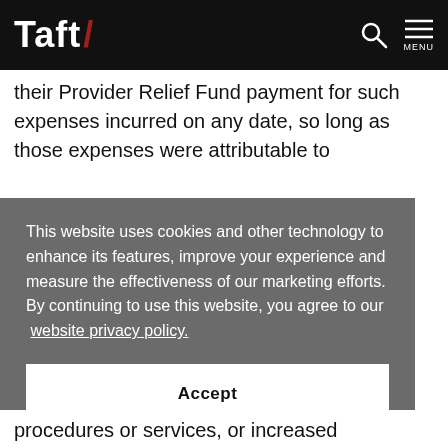Taft/
their Provider Relief Fund payment for such expenses incurred on any date, so long as those expenses were attributable to
This website uses cookies and other technology to enhance its features, improve your experience and measure the effectiveness of our marketing efforts. By continuing to use this website, you agree to our website privacy policy.
Accept
procedures or services, or increased